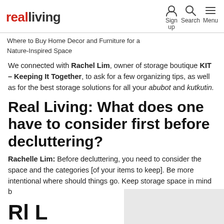realliving
Where to Buy Home Decor and Furniture for a Nature-Inspired Space
We connected with Rachel Lim, owner of storage boutique KIT – Keeping It Together, to ask for a few organizing tips, as well as for the best storage solutions for all your abubot and kutkutin.
Real Living: What does one have to consider first before decluttering?
Rachelle Lim: Before decluttering, you need to consider the space and the categories [of your items to keep]. Be more intentional where should things go. Keep storage space in mind b…